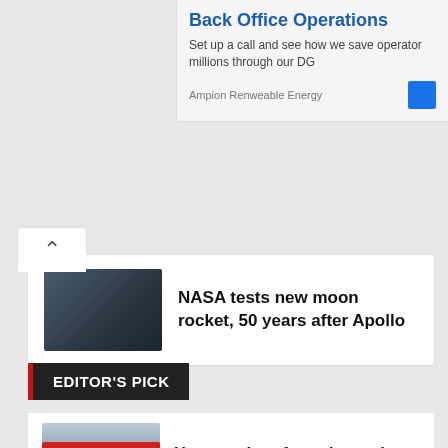[Figure (screenshot): Ad banner for Ampion Renweable Energy - Back Office Operations]
Back Office Operations
Set up a call and see how we save operator millions through our DG
Ampion Renweable Energy
[Figure (photo): Rocket launch pad - NASA moon rocket]
NASA tests new moon rocket, 50 years after Apollo
EDITOR'S PICK
[Figure (photo): Aircraft carrier at sea]
How an aircraft carrier projects power deep into the coast
[Figure (photo): Rasika Dugal and Shefali Shah - two women]
Rasika Dugal, Shefali Shah on how their relationship evolves in Delhi Crime season 2